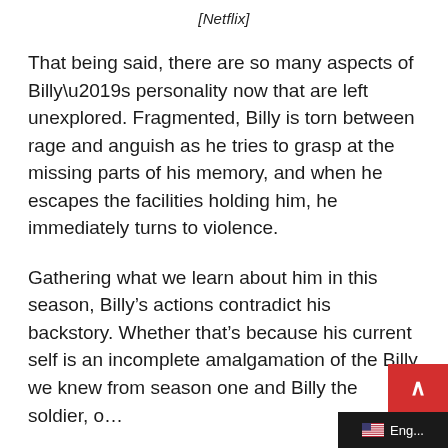[Netflix]
That being said, there are so many aspects of Billy’s personality now that are left unexplored. Fragmented, Billy is torn between rage and anguish as he tries to grasp at the missing parts of his memory, and when he escapes the facilities holding him, he immediately turns to violence.
Gathering what we learn about him in this season, Billy’s actions contradict his backstory. Whether that’s because his current self is an incomplete amalgamation of the Billy we knew from season one and Billy the soldier, o…